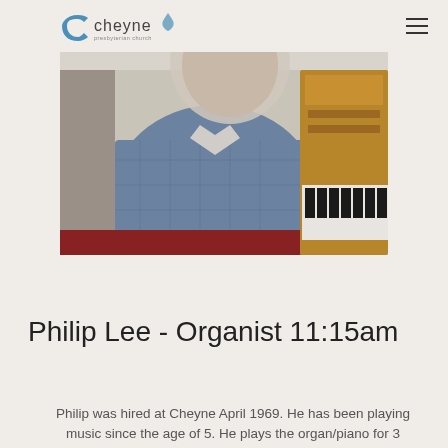Cheyne Presbyterian Church
[Figure (photo): Photo of Philip Lee seated at a church organ. He is wearing a blue plaid shirt and the organ console with wooden cabinetry and piano keys is visible behind him.]
Philip Lee - Organist 11:15am
Philip was hired at Cheyne April 1969. He has been playing music since the age of 5. He plays the organ/piano for 3